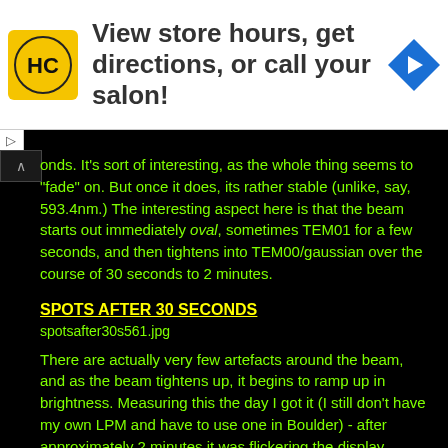[Figure (other): Advertisement banner: HC logo (yellow circle with HC text), text 'View store hours, get directions, or call your salon!', and a blue navigation arrow icon]
onds. It's sort of interesting, as the whole thing seems to "fade" on. But once it does, its rather stable (unlike, say, 593.4nm.) The interesting aspect here is that the beam starts out immediately oval, sometimes TEM01 for a few seconds, and then tightens into TEM00/gaussian over the course of 30 seconds to 2 minutes.
SPOTS AFTER 30 SECONDS
[Figure (photo): Image placeholder: spotsafter30s561.jpg]
There are actually very few artefacts around the beam, and as the beam tightens up, it begins to ramp up in brightness. Measuring this the day I got it (I still don't have my own LPM and have to use one in Boulder) - after approximately 2 minutes it was flickering the display between 31 and 32mW.
As Glenn/Scopeguy20 mentioned before, "slow warmup